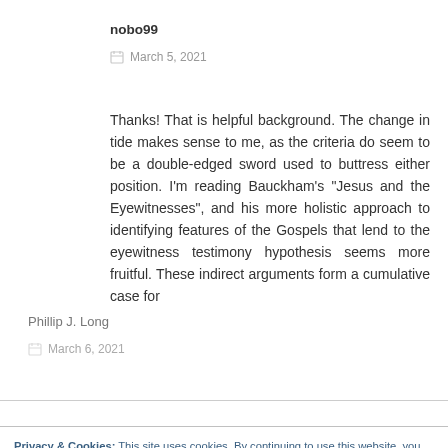nobo99
March 5, 2021
Thanks! That is helpful background. The change in tide makes sense to me, as the criteria do seem to be a double-edged sword used to buttress either position. I’m reading Bauckham’s “Jesus and the Eyewitnesses”, and his more holistic approach to identifying features of the Gospels that lend to the eyewitness testimony hypothesis seems more fruitful. These indirect arguments form a cumulative case for
Privacy & Cookies: This site uses cookies. By continuing to use this website, you agree to their use.
To find out more, including how to control cookies, see here: Cookie Policy
Close and accept
Phillip J. Long
March 6, 2021